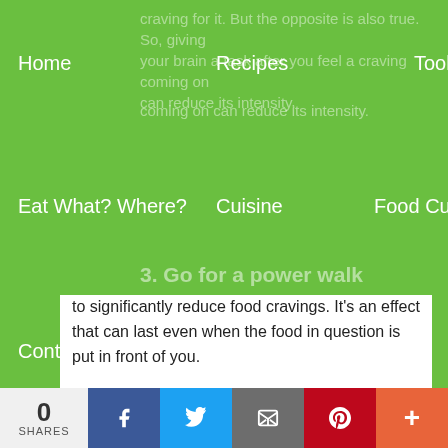Home | Recipes | Tools | Nutrition | Eat What? Where? | Cuisine | Food Culture | Contact
craving for it. But the opposite is also true. So, giving your brain a task after you feel a craving coming on can reduce its intensity.
3. Go for a power walk
Short bursts of physical activity are powerful enough to significantly reduce food cravings. It's an effect that can last even when the food in question is put in front of you.
Is hunger all in your head?
Genuine or 'stomach hunger' isn't the only reason
0 SHARES | Facebook | Twitter | Email | Pinterest | More